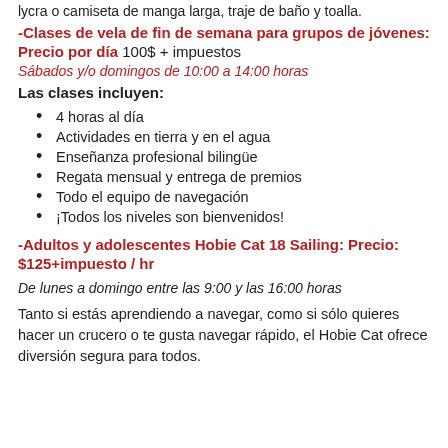lycra o camiseta de manga larga, traje de baño y toalla.
-Clases de vela de fin de semana para grupos de jóvenes: Precio por día 100$ + impuestos
Sábados y/o domingos de 10:00 a 14:00 horas
Las clases incluyen:
4 horas al día
Actividades en tierra y en el agua
Enseñanza profesional bilingüe
Regata mensual y entrega de premios
Todo el equipo de navegación
¡Todos los niveles son bienvenidos!
-Adultos y adolescentes Hobie Cat 18 Sailing: Precio: $125+impuesto / hr
De lunes a domingo entre las 9:00 y las 16:00 horas
Tanto si estás aprendiendo a navegar, como si sólo quieres hacer un crucero o te gusta navegar rápido, el Hobie Cat ofrece diversión segura para todos.